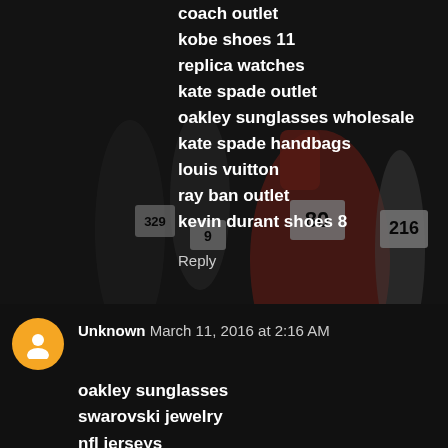coach outlet
kobe shoes 11
replica watches
kate spade outlet
oakley sunglasses wholesale
kate spade handbags
louis vuitton
ray ban outlet
kevin durant shoes 8
Reply
Unknown  March 11, 2016 at 2:16 AM
oakley sunglasses
swarovski jewelry
nfl jerseys
beats by dre
cheap michael kors handbags
hermes belt for sale
hermes outlet store
michael kors outlet online
hermes outlet